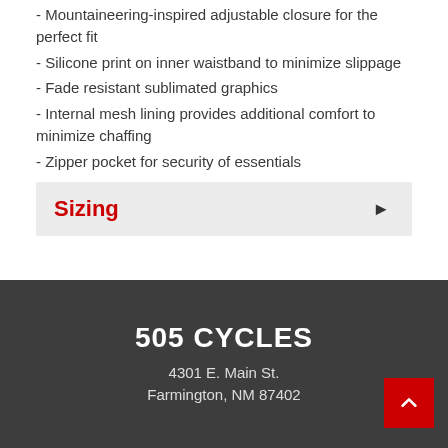- Mountaineering-inspired adjustable closure for the perfect fit
- Silicone print on inner waistband to minimize slippage
- Fade resistant sublimated graphics
- Internal mesh lining provides additional comfort to minimize chaffing
- Zipper pocket for security of essentials
Sizing
505 CYCLES
4301 E. Main St.
Farmington, NM 87402